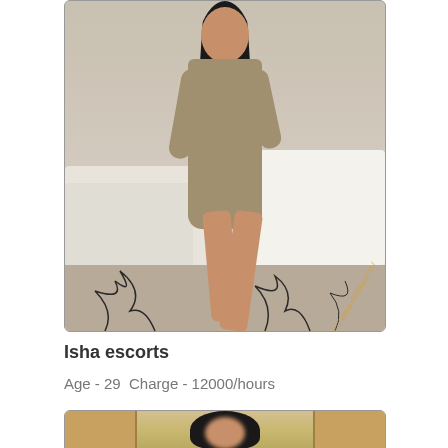[Figure (photo): Woman in beige/tan dress sitting on edge of hotel bed, with watermark text 'https://www.dritikaur.in/' overlaid diagonally]
Isha escorts
Age - 29  Charge - 12000/hours
[Figure (photo): Woman with dark hair standing near wooden doors/wardrobe in a room, face blurred]